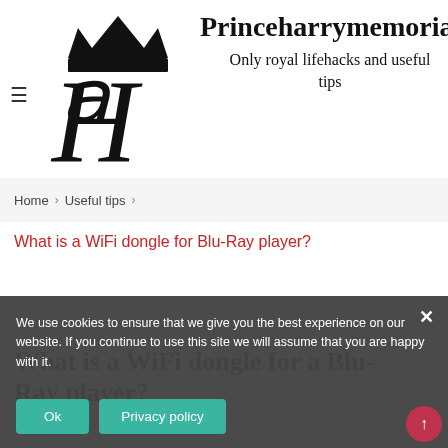[Figure (logo): Princeharrymemorial blog logo with crown and stylized H monogram]
Princeharrymemoria
Only royal lifehacks and useful tips
Home › Useful tips ›
What is a WiFi dongle for Blu-Ray player?
USEFUL TIPS
What is a WiFi dongle for a Blu-Ray player?
We use cookies to ensure that we give you the best experience on our website. If you continue to use this site we will assume that you are happy with it.
Ok
Privacy policy